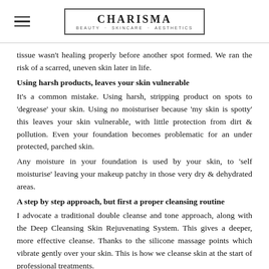CHARISMA
BEAUTY · SKINCARE · AESTHETICS
tissue wasn't healing properly before another spot formed. We ran the risk of a scarred, uneven skin later in life.
Using harsh products, leaves your skin vulnerable
It's a common mistake. Using harsh, stripping product on spots to 'degrease' your skin. Using no moisturiser because 'my skin is spotty' this leaves your skin vulnerable, with little protection from dirt & pollution. Even your foundation becomes problematic for an under protected, parched skin.
Any moisture in your foundation is used by your skin, to 'self moisturise' leaving your makeup patchy in those very dry & dehydrated areas.
A step by step approach, but first a proper cleansing routine
I advocate a traditional double cleanse and tone approach, along with the Deep Cleansing Skin Rejuvenating System. This gives a deeper, more effective cleanse. Thanks to the silicone massage points which vibrate gently over your skin. This is how we cleanse skin at the start of professional treatments.